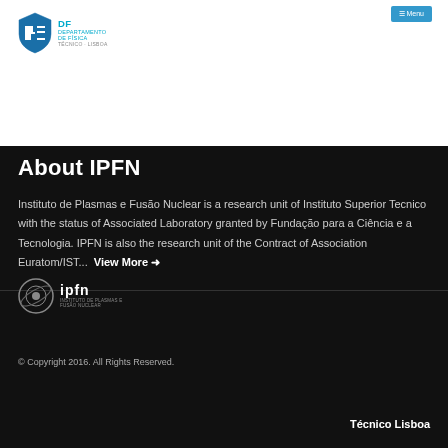[Figure (logo): DF Departamento de Física Técnico Lisboa shield logo in blue and white]
About IPFN
Instituto de Plasmas e Fusão Nuclear is a research unit of Instituto Superior Tecnico with the status of Associated Laboratory granted by Fundação para a Ciência e a Tecnologia. IPFN is also the research unit of the Contract of Association Euratom/IST... View More →
[Figure (logo): IPFN Instituto de Plasmas e Fusão Nuclear logo in grey and white]
© Copyright 2016. All Rights Reserved.
Técnico Lisboa